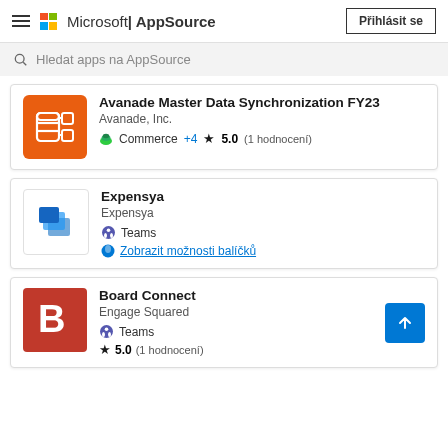Microsoft | AppSource — Přihlásit se
Hledat apps na AppSource
Avanade Master Data Synchronization FY23
Avanade, Inc.
Commerce +4
★ 5.0 (1 hodnocení)
Expensya
Expensya
Teams
Zobrazit možnosti balíčků
Board Connect
Engage Squared
Teams
★ 5.0 (1 hodnocení)